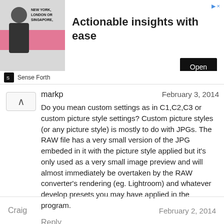[Figure (screenshot): Advertisement banner for Sense Forth: shows a man in business attire with text NEW YORK, LONDON OR SINGAPORE, headline Actionable insights with ease, and an Open button]
markp
February 3, 2014
Do you mean custom settings as in C1,C2,C3 or custom picture style settings? Custom picture styles (or any picture style) is mostly to do with JPGs. The RAW file has a very small version of the JPG embeded in it with the picture style applied but it's only used as a very small image preview and will almost immediately be overtaken by the RAW converter's rendering (eg. Lightroom) and whatever develop presets you may have applied in the program.
Reply
Craig
February 2, 2014